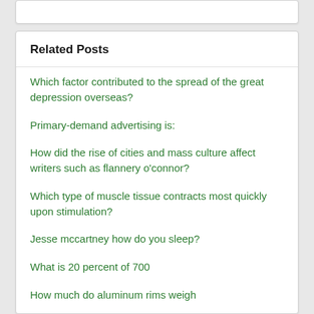Related Posts
Which factor contributed to the spread of the great depression overseas?
Primary-demand advertising is:
How did the rise of cities and mass culture affect writers such as flannery o'connor?
Which type of muscle tissue contracts most quickly upon stimulation?
Jesse mccartney how do you sleep?
What is 20 percent of 700
How much do aluminum rims weigh